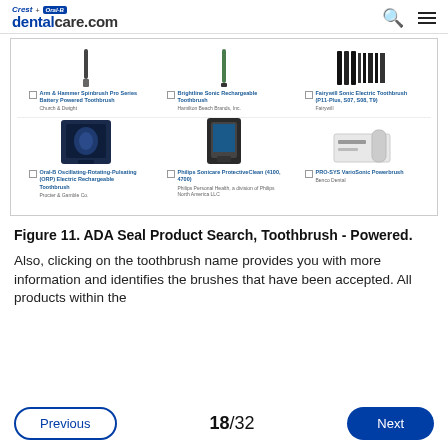Crest + Oral-B dentalcare.com
[Figure (screenshot): Screenshot of ADA Seal Product Search results for Toothbrush - Powered, showing 6 products in two rows: Arm & Hammer Spinbrush Pro Series Battery Powered Toothbrush (Church & Dwight), Brightline Sonic Rechargeable Toothbrush (Hamilton Beach Brands, Inc.), Fairywill Sonic Electric Toothbrush (P11-Plus, S07, S08, T9) (Fairywill), Oral-B Oscillating-Rotating-Pulsating (ORP) Electric Rechargeable Toothbrush (Procter & Gamble Co.), Philips Sonicare ProtectiveClean (4100, 4700) (Philips Personal Health, a division of Philips North America LLC), PRO-SYS VarioSonic Powerbrush (Benco Dental)]
Figure 11. ADA Seal Product Search, Toothbrush - Powered.
Also, clicking on the toothbrush name provides you with more information and identifies the brushes that have been accepted. All products within the
Previous  18/32  Next